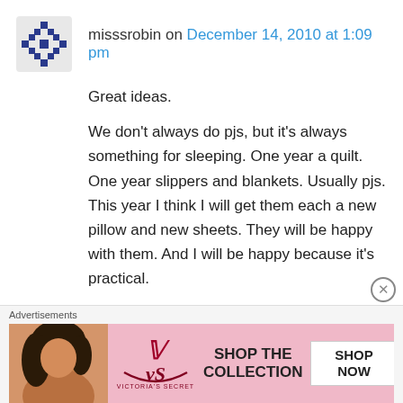misssrobin on December 14, 2010 at 1:09 pm
Great ideas.
We don’t always do pjs, but it’s always something for sleeping. One year a quilt. One year slippers and blankets. Usually pjs. This year I think I will get them each a new pillow and new sheets. They will be happy with them. And I will be happy because it’s practical.
I always set out Rhodes frozen cinnamon rolls on Christmas Eve. Then I bake them as everyone opens their present Christmas
[Figure (photo): Victoria's Secret advertisement banner with a model and text SHOP THE COLLECTION and SHOP NOW button]